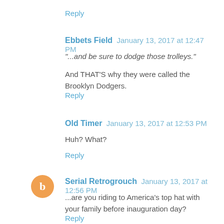Reply
Ebbets Field  January 13, 2017 at 12:47 PM
"...and be sure to dodge those trolleys."
And THAT'S why they were called the Brooklyn Dodgers.
Reply
Old Timer  January 13, 2017 at 12:53 PM
Huh? What?
Reply
Serial Retrogrouch  January 13, 2017 at 12:56 PM
...are you riding to America's top hat with your family before inauguration day?
Reply